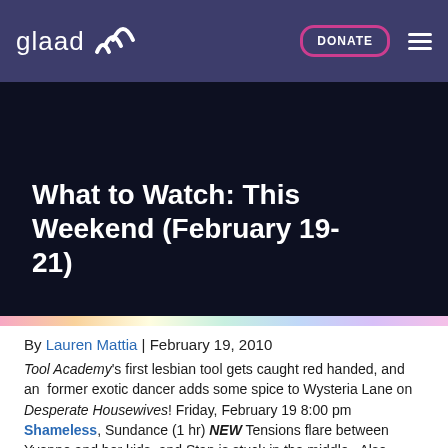glaad [logo with wifi-style waves] | DONATE | menu
What to Watch: This Weekend (February 19-21)
By Lauren Mattia | February 19, 2010
Tool Academy's first lesbian tool gets caught red handed, and an former exotic dancer adds some spice to Wysteria Lane on Desperate Housewives! Friday, February 19 8:00 pm Shameless, Sundance (1 hr) NEW Tensions flare between Yvonne and her kids, and Stan is stuck in the middle. Also features gay son Ian, Ian's bisexual mother Monica, her ex-